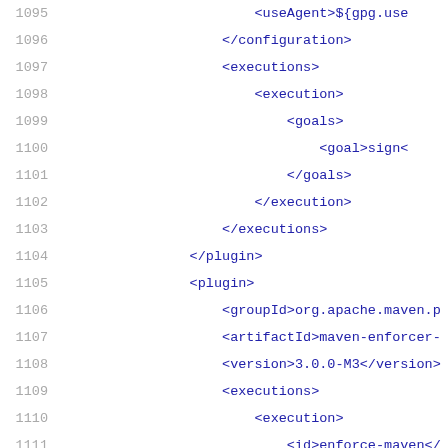[Figure (screenshot): Source code viewer showing XML Maven configuration file, lines 1095-1116, with line numbers on the left in gray and XML code in dark blue monospace font on white background.]